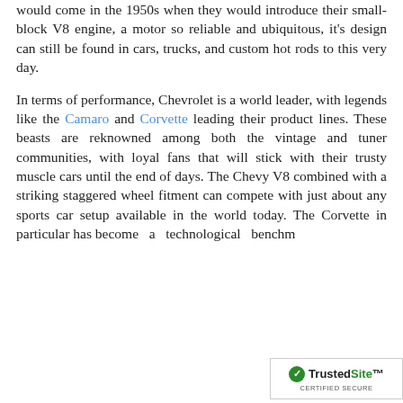would come in the 1950s when they would introduce their small-block V8 engine, a motor so reliable and ubiquitous, it's design can still be found in cars, trucks, and custom hot rods to this very day.
In terms of performance, Chevrolet is a world leader, with legends like the Camaro and Corvette leading their product lines. These beasts are reknowned among both the vintage and tuner communities, with loyal fans that will stick with their trusty muscle cars until the end of days. The Chevy V8 combined with a striking staggered wheel fitment can compete with just about any sports car setup available in the world today. The Corvette in particular has become a technological benchm...